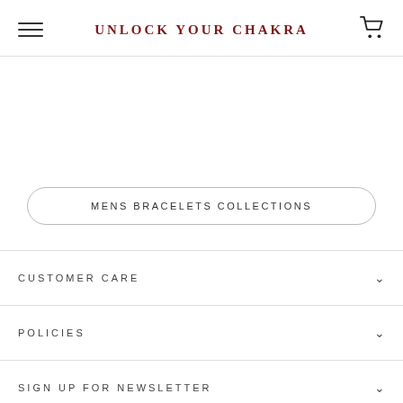UNLOCK YOUR CHAKRA
MENS BRACELETS COLLECTIONS
CUSTOMER CARE
POLICIES
SIGN UP FOR NEWSLETTER
© 2025 UNLOCK YOUR CHAKRA